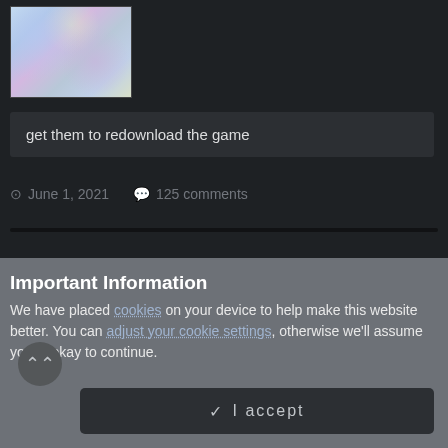[Figure (screenshot): Partial thumbnail image of a colorful game artwork at top left]
get them to redownload the game
June 1, 2021  125 comments
Important Information
We have placed cookies on your device to help make this website better. You can adjust your cookie settings, otherwise we'll assume you're okay to continue.
✓  I accept